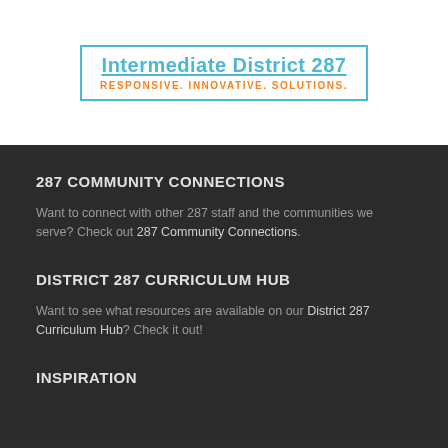[Figure (logo): Intermediate District 287 logo with blue border, blue bold title text 'Intermediate District 287' underlined, and orange tagline 'RESPONSIVE. INNOVATIVE. SOLUTIONS.']
287 COMMUNITY CONNECTIONS
Want to connect with other 287 staff and the communities we serve? Check out 287 Community Connections.
DISTRICT 287 CURRICULUM HUB
Want to see what resources are available on our District 287 Curriculum Hub? Check it out!
INSPIRATION